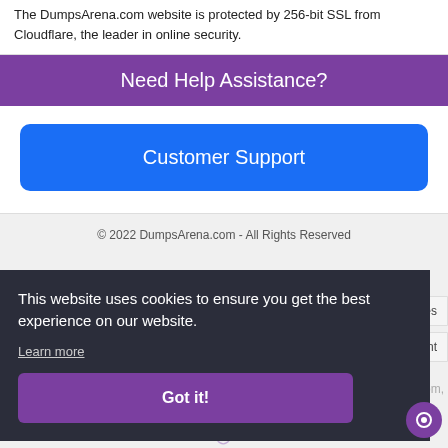The DumpsArena.com website is protected by 256-bit SSL from Cloudflare, the leader in online security.
Need Help Assistance?
Customer Support
© 2022 DumpsArena.com - All Rights Reserved
This website uses cookies to ensure you get the best experience on our website.
Learn more
Got it!